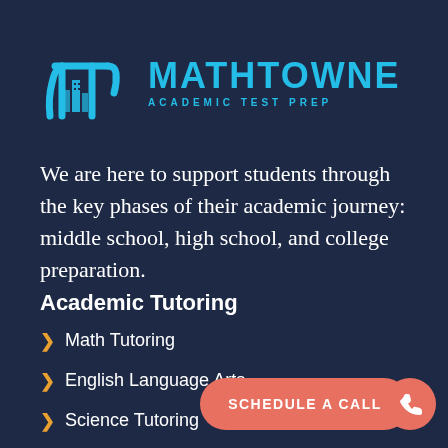[Figure (logo): MathTowne Academic Test Prep logo with cyan pi symbol containing city buildings, and text MATHTOWNE ACADEMIC TEST PREP in cyan]
We are here to support students through the key phases of their academic journey: middle school, high school, and college preparation.
Academic Tutoring
Math Tutoring
English Language Arts
Science Tutoring
Test Preparation
[Figure (other): SCHEDULE A CALL button in salmon/coral color with rounded pill shape, and a circular phone icon button to its right]